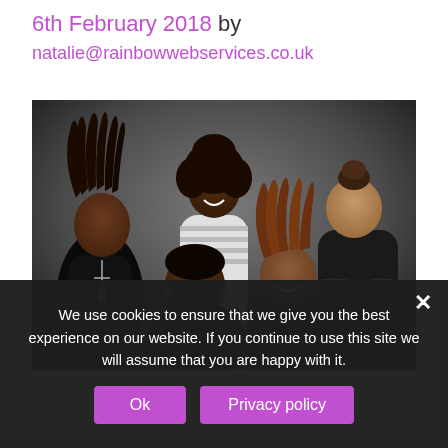6th February 2018 by natalie@rainbowwebservices.co.uk
[Figure (photo): Group portrait of five women posed together against a dark grey background. One woman on the left wears a black t-shirt with dreadlocks, center-back woman wears a striped top, two women in the front wear dark clothing, and a woman on the right has her hair up and arms crossed.]
We use cookies to ensure that we give you the best experience on our website. If you continue to use this site we will assume that you are happy with it.